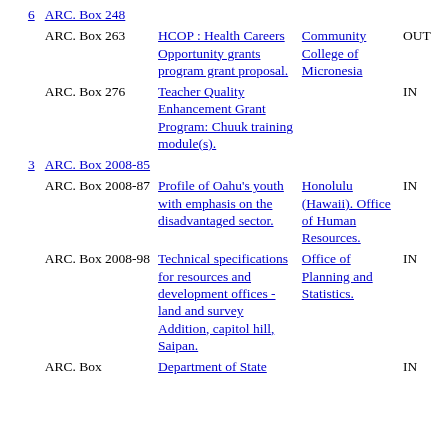| # | Box | Title | Organization | Status |
| --- | --- | --- | --- | --- |
| 6 | ARC. Box 248 |  |  |  |
|  | ARC. Box 263 | HCOP : Health Careers Opportunity grants program grant proposal. | Community College of Micronesia | OUT |
|  | ARC. Box 276 | Teacher Quality Enhancement Grant Program: Chuuk training module(s). |  | IN |
| 3 | ARC. Box 2008-85 |  |  |  |
|  | ARC. Box 2008-87 | Profile of Oahu's youth with emphasis on the disadvantaged sector. | Honolulu (Hawaii). Office of Human Resources. | IN |
|  | ARC. Box 2008-98 | Technical specifications for resources and development offices - land and survey Addition, capitol hill, Saipan. | Office of Planning and Statistics. | IN |
|  | ARC. Box ... | Department of State ... |  | IN |